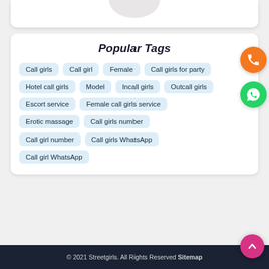[Figure (illustration): Partial top of a white card showing bottom edge of an image/logo at the top of the page]
Popular Tags
Call girls
Call girl
Female
Call girls for party
Hotel call girls
Model
Incall girls
Outcall girls
Escort service
Female call girls service
Erotic massage
Call girls number
Call girl number
Call girls WhatsApp
Call girl WhatsApp
© 2021 Streetgirls. All Rights Reserved Sitemap